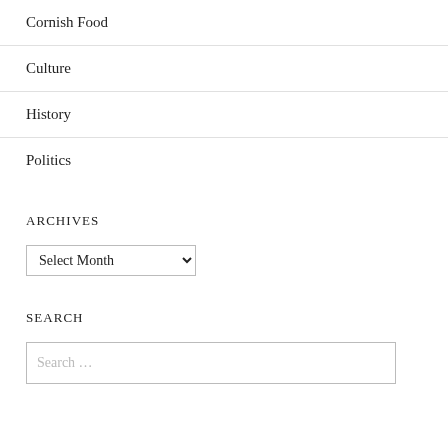Cornish Food
Culture
History
Politics
ARCHIVES
Select Month
SEARCH
Search …